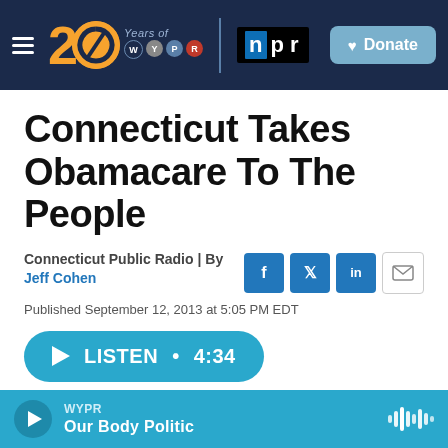WYPR | 20 Years of WYPR | NPR | Donate
Connecticut Takes Obamacare To The People
Connecticut Public Radio | By Jeff Cohen
Published September 12, 2013 at 5:05 PM EDT
LISTEN • 4:34
[Figure (photo): Photo strip at bottom of article]
WYPR | Our Body Politic